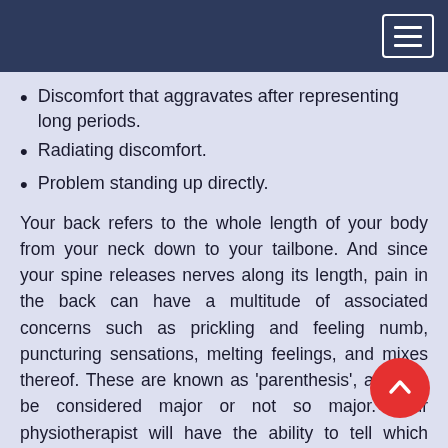Discomfort that aggravates after representing long periods.
Radiating discomfort.
Problem standing up directly.
Your back refers to the whole length of your body from your neck down to your tailbone. And since your spine releases nerves along its length, pain in the back can have a multitude of associated concerns such as prickling and feeling numb, puncturing sensations, melting feelings, and mixes thereof. These are known as ‘parenthesis’, and can be considered major or not so major. Your physiotherapist will have the ability to tell which conditions they can deal